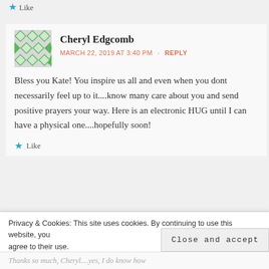★ Like
Cheryl Edgcomb
MARCH 22, 2019 AT 3:40 PM  ·  REPLY
Bless you Kate! You inspire us all and even when you dont necessarily feel up to it....know many care about you and send positive prayers your way. Here is an electronic HUG until I can have a physical one....hopefully soon!
★ Like
Privacy & Cookies: This site uses cookies. By continuing to use this website, you agree to their use.
To find out more, including how to control cookies, see here: Cookie Policy
Close and accept
Thanks so much, Cheryl....yes, I do know how